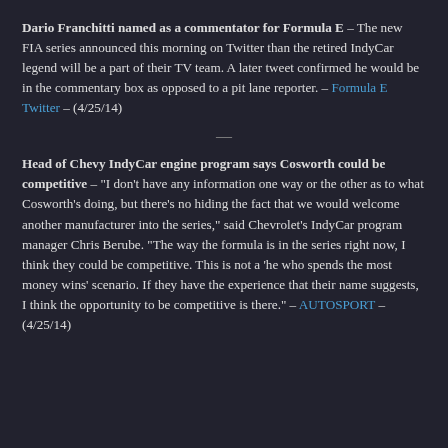Dario Franchitti named as a commentator for Formula E – The new FIA series announced this morning on Twitter than the retired IndyCar legend will be a part of their TV team. A later tweet confirmed he would be in the commentary box as opposed to a pit lane reporter. – Formula E Twitter – (4/25/14)
Head of Chevy IndyCar engine program says Cosworth could be competitive – "I don't have any information one way or the other as to what Cosworth's doing, but there's no hiding the fact that we would welcome another manufacturer into the series," said Chevrolet's IndyCar program manager Chris Berube. "The way the formula is in the series right now, I think they could be competitive. This is not a 'he who spends the most money wins' scenario. If they have the experience that their name suggests, I think the opportunity to be competitive is there." – AUTOSPORT – (4/25/14)